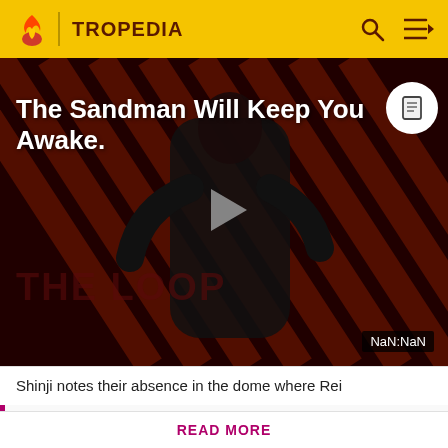TROPEDIA
[Figure (screenshot): Video player thumbnail showing a dark-themed figure in black against a diagonal striped red and black background. Text reads 'The Sandman Will Keep You Awake.' with a play button in center and 'THE LOOP' watermark at bottom. Timer shows NaN:NaN.]
Shinji notes their absence in the dome where Rei
Before making a single edit, Tropedia EXPECTS our site policy and manual of style to be followed. Failure to do so may
READ MORE